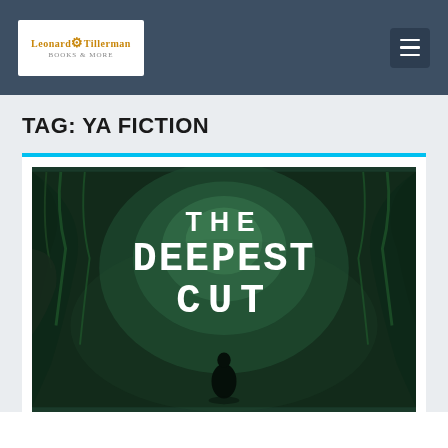Leonard Tillerman — website header with logo and navigation menu
TAG: YA FICTION
[Figure (illustration): Book cover for 'The Deepest Cut' showing a dark green forest background with a silhouette of a person standing in the middle distance, with large white text reading 'THE DEEPEST CUT']